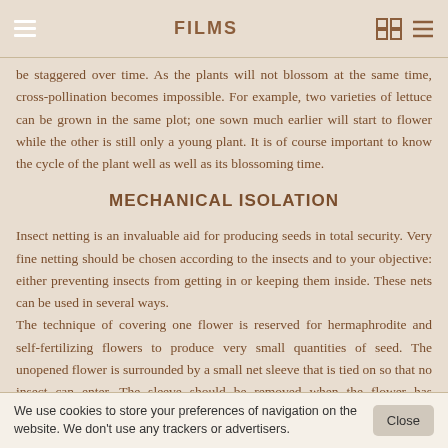FILMS
be staggered over time. As the plants will not blossom at the same time, cross-pollination becomes impossible. For example, two varieties of lettuce can be grown in the same plot; one sown much earlier will start to flower while the other is still only a young plant. It is of course important to know the cycle of the plant well as well as its blossoming time.
MECHANICAL ISOLATION
Insect netting is an invaluable aid for producing seeds in total security. Very fine netting should be chosen according to the insects and to your objective: either preventing insects from getting in or keeping them inside. These nets can be used in several ways.
The technique of covering one flower is reserved for hermaphrodite and self-fertilizing flowers to produce very small quantities of seed. The unopened flower is surrounded by a small net sleeve that is tied on so that no insect can enter. The sleeve should be removed when the flower has withered so that the varieties can pollinate themselves and allow the development of fruit that is being reserved for seed.
We use cookies to store your preferences of navigation on the website. We don't use any trackers or advertisers.